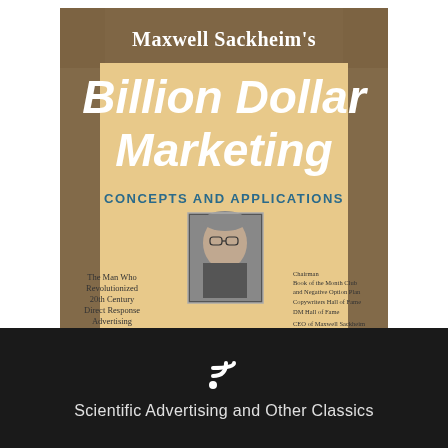[Figure (illustration): Book cover of 'Maxwell Sackheim's Billion Dollar Marketing: Concepts and Applications'. Features granite/stone texture background in brown/tan tones, large white bold italic title text, a photo of Maxwell Sackheim (older man with glasses in suit), text about him revolutionizing 20th century direct response advertising, and accolades on the right side.]
[Figure (illustration): RSS feed icon in white on dark background]
Scientific Advertising and Other Classics